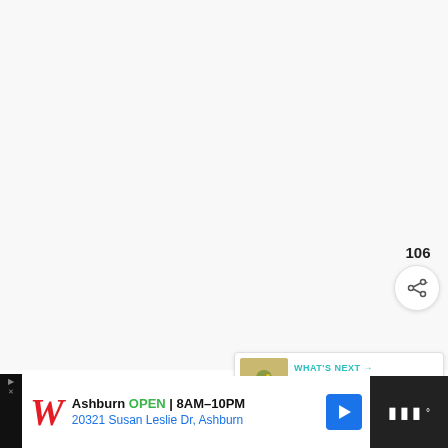[Figure (screenshot): Large white/light gray blank area occupying top portion of the page, representing a recipe image area]
[Figure (infographic): Teal circular heart/favorite button with white heart icon, showing count 106 below it, and a share button below that]
[Figure (screenshot): What's Next panel showing a food thumbnail image and text 'WHAT'S NEXT → Moroccan Lamb Mince...']
1 tbs flour
[Figure (screenshot): Advertisement bar: Walgreens ad - Ashburn OPEN 8AM-10PM, 20321 Susan Leslie Dr, Ashburn. Right panel shows audio/music icon.]